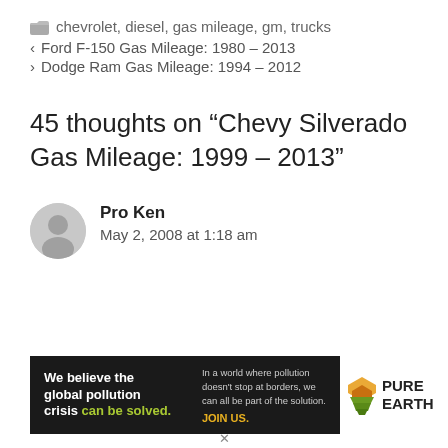chevrolet, diesel, gas mileage, gm, trucks
< Ford F-150 Gas Mileage: 1980 – 2013
> Dodge Ram Gas Mileage: 1994 – 2012
45 thoughts on “Chevy Silverado Gas Mileage: 1999 – 2013”
Pro Ken
May 2, 2008 at 1:18 am
[Figure (infographic): Pure Earth advertisement banner: 'We believe the global pollution crisis can be solved. In a world where pollution doesn't stop at borders, we can all be part of the solution. JOIN US.' with Pure Earth logo.]